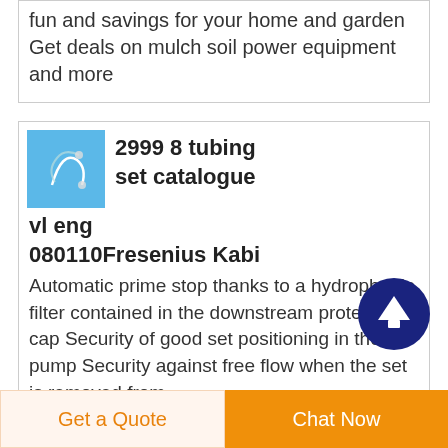fun and savings for your home and garden Get deals on mulch soil power equipment and more
[Figure (photo): Small product thumbnail image with blue background showing tubing/medical equipment]
2999 8 tubing set catalogue
vl eng 080110Fresenius Kabi
Automatic prime stop thanks to a hydrophobic filter contained in the downstream protector cap Security of good set positioning in the pump Security against free flow when the set is removed from
Get a Quote
Chat Now